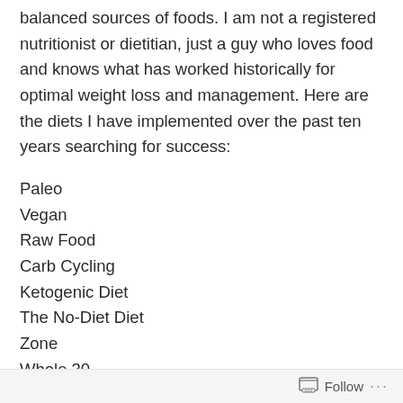balanced sources of foods. I am not a registered nutritionist or dietitian, just a guy who loves food and knows what has worked historically for optimal weight loss and management. Here are the diets I have implemented over the past ten years searching for success:
Paleo
Vegan
Raw Food
Carb Cycling
Ketogenic Diet
The No-Diet Diet
Zone
Whole 30
After seriously attempting all of these diets with mixed results, I have developed in my mind a balanced list of
Follow